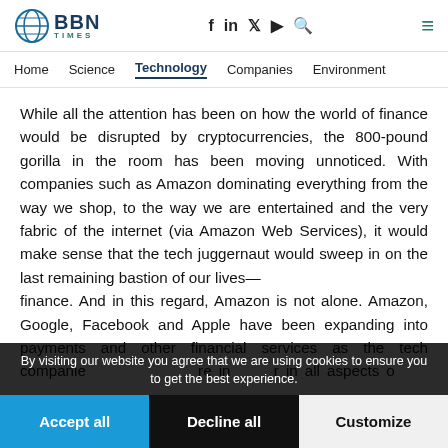BBN TIMES — Home | Science | Technology | Companies | Environment
While all the attention has been on how the world of finance would be disrupted by cryptocurrencies, the 800-pound gorilla in the room has been moving unnoticed. With companies such as Amazon dominating everything from the way we shop, to the way we are entertained and the very fabric of the internet (via Amazon Web Services), it would make sense that the tech juggernaut would sweep in on the last remaining bastion of our lives — finance. And in this regard, Amazon is not alone. Amazon, Google, Facebook and Apple have been expanding into payments and other financial services as the tech companies grew ever more in power in all aspects of our lives.
By visiting our website you agree that we are using cookies to ensure you to get the best experience.